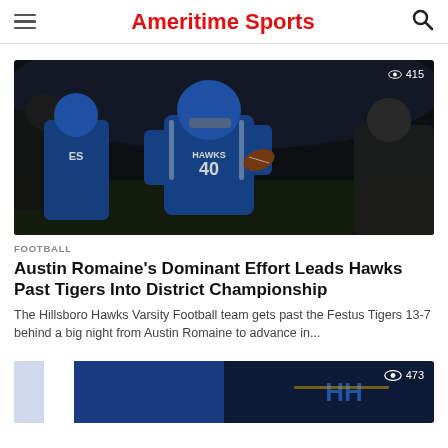Ameritime Sports
[Figure (photo): Football player in blue Hawks #40 jersey running with the ball on a dark field, teammates and opponents visible]
415
FOOTBALL
Austin Romaine's Dominant Effort Leads Hawks Past Tigers Into District Championship
The Hillsboro Hawks Varsity Football team gets past the Festus Tigers 13-7 behind a big night from Austin Romaine to advance in...
[Figure (photo): Partial view of a second article image showing blue and white colors with Hawks logo, partially visible at bottom of page]
473